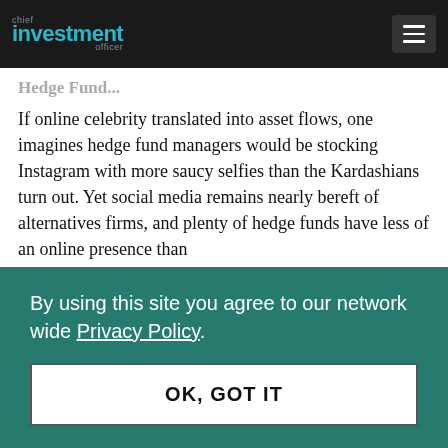chief investment officer
If online celebrity translated into asset flows, one imagines hedge fund managers would be stocking Instagram with more saucy selfies than the Kardashians turn out. Yet social media remains nearly bereft of alternatives firms, and plenty of hedge funds have less of an online presence than
By using this site you agree to our network wide Privacy Policy.
OK, GOT IT